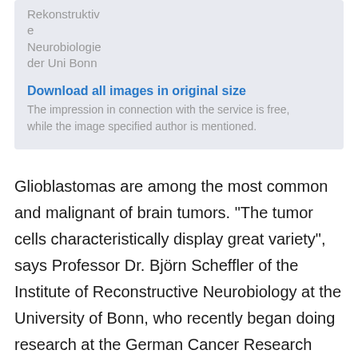Rekonstruktive
Neurobiologie
der Uni Bonn
Download all images in original size
The impression in connection with the service is free, while the image specified author is mentioned.
Glioblastomas are among the most common and malignant of brain tumors. "The tumor cells characteristically display great variety", says Professor Dr. Björn Scheffler of the Institute of Reconstructive Neurobiology at the University of Bonn, who recently began doing research at the German Cancer Research Center in Heidelberg and is a Professor at the Essen